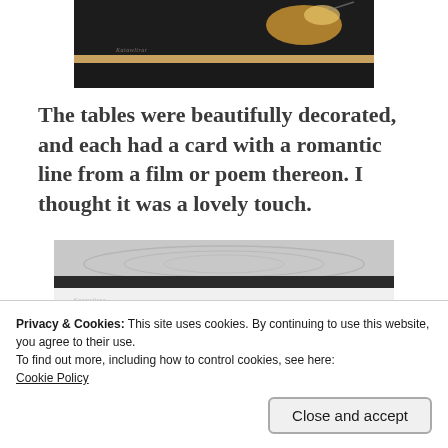[Figure (photo): Top portion of a food/table photo with dark background and food items visible, with a watermark 'Katawlirar' at the bottom]
The tables were beautifully decorated, and each had a card with a romantic line from a film or poem thereon.  I thought it was a lovely touch.
[Figure (photo): A decorative card with scroll/damask pattern on top and the script text 'Rhett & Scarlett' written in cursive on a light background]
Privacy & Cookies: This site uses cookies. By continuing to use this website, you agree to their use.
To find out more, including how to control cookies, see here:
Cookie Policy
Close and accept